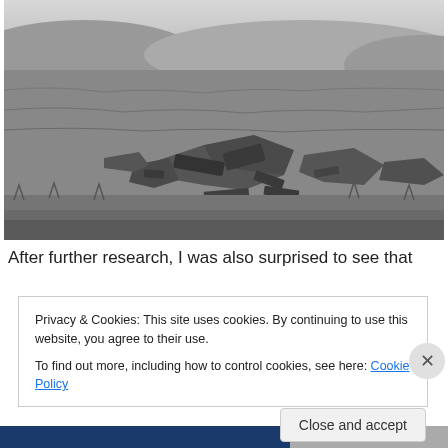[Figure (photo): Black and white photograph of a hillside or moorland with scattered wreckage debris across the ground, with hills visible in the background.]
After further research, I was also surprised to see that
Privacy & Cookies: This site uses cookies. By continuing to use this website, you agree to their use.
To find out more, including how to control cookies, see here: Cookie Policy
Close and accept